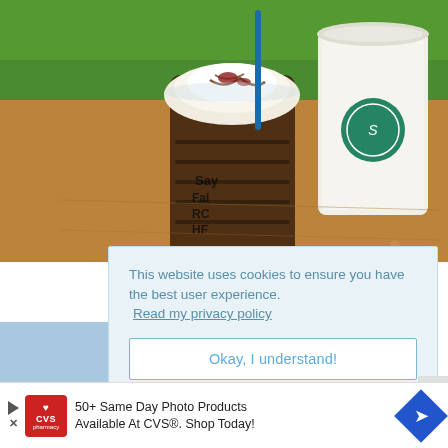[Figure (photo): Photo of Starbucks drinks on a wooden table: a Frappuccino with whipped cream and chocolate drizzle in a clear plastic cup with handwritten order notes on the side, and a white Starbucks hot cup with green logo. Green background behind.]
This website uses cookies to ensure you have the best user experience.
Read my privacy policy
Okay, I understand!
[Figure (photo): Partial view of another photo on the left side, showing a blue-tinted building or sky scene]
50+ Same Day Photo Products Available At CVS®. Shop Today!